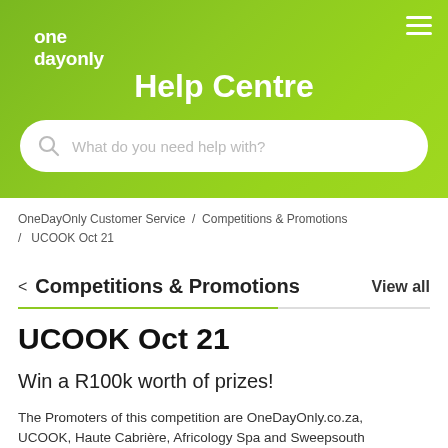[Figure (logo): OneDayOnly logo in white text on green background]
Help Centre
[Figure (screenshot): Search box with placeholder text 'What do you need help with?']
OneDayOnly Customer Service / Competitions & Promotions / UCOOK Oct 21
< Competitions & Promotions   View all
UCOOK Oct 21
Win a R100k worth of prizes!
The Promoters of this competition are OneDayOnly.co.za, UCOOK, Haute Cabrière, Africology Spa and Sweepsouth